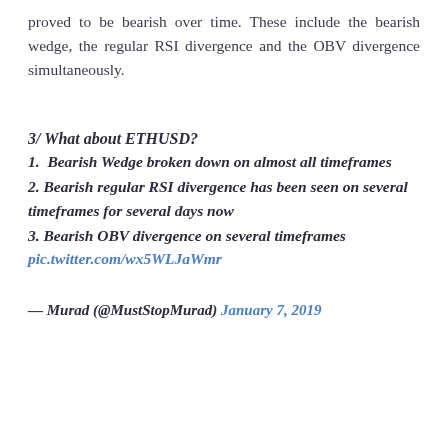proved to be bearish over time. These include the bearish wedge, the regular RSI divergence and the OBV divergence simultaneously.
3/ What about ETHUSD?
1. Bearish Wedge broken down on almost all timeframes
2. Bearish regular RSI divergence has been seen on several timeframes for several days now
3. Bearish OBV divergence on several timeframes pic.twitter.com/wx5WLJaWmr
— Murad (@MustStopMurad) January 7, 2019